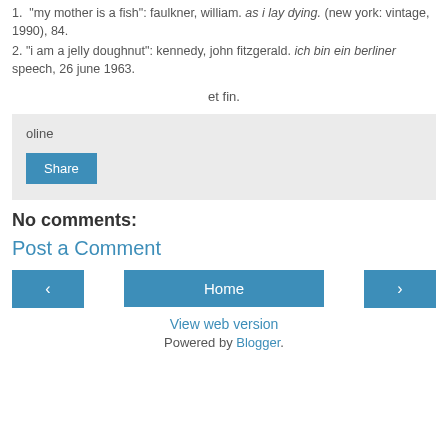1.  "my mother is a fish": faulkner, william. as i lay dying. (new york: vintage, 1990), 84.
2. "i am a jelly doughnut": kennedy, john fitzgerald. ich bin ein berliner speech, 26 june 1963.
et fin.
oline
Share
No comments:
Post a Comment
Home
View web version
Powered by Blogger.